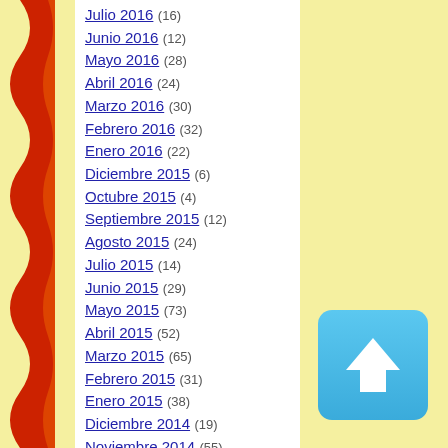Julio 2016 (16)
Junio 2016 (12)
Mayo 2016 (28)
Abril 2016 (24)
Marzo 2016 (30)
Febrero 2016 (32)
Enero 2016 (22)
Diciembre 2015 (6)
Octubre 2015 (4)
Septiembre 2015 (12)
Agosto 2015 (24)
Julio 2015 (14)
Junio 2015 (29)
Mayo 2015 (73)
Abril 2015 (52)
Marzo 2015 (65)
Febrero 2015 (31)
Enero 2015 (38)
Diciembre 2014 (19)
Noviembre 2014 (55)
Octubre 2014 (72)
Septiembre 2014 (46)
Agosto 2014 (98)
Julio 2014 (65)
Junio 2014 (116)
Mayo 2014 (204)
Abril 2014 (37)
Marzo 2014 (18)
[Figure (illustration): Blue rounded square button with white upward arrow icon]